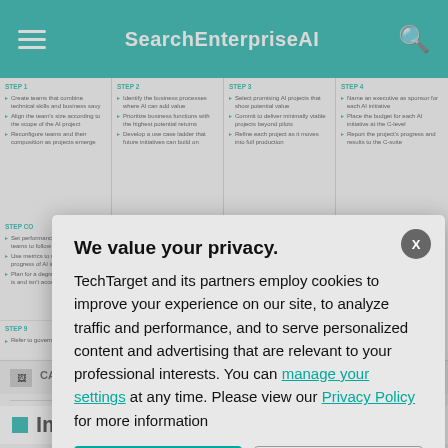SearchEnterpriseAI
[Figure (infographic): Steps infographic showing AI implementation steps (Step 1 through Step 9) with bullet points for each step, and a photo of a robot/AI concept in the middle row]
CAPTION: Learn... the enterprise.
Impact of
The value of AI t... compared to the... early 20th centu...
We value your privacy.

TechTarget and its partners employ cookies to improve your experience on our site, to analyze traffic and performance, and to serve personalized content and advertising that are relevant to your professional interests. You can manage your settings at any time. Please view our Privacy Policy for more information